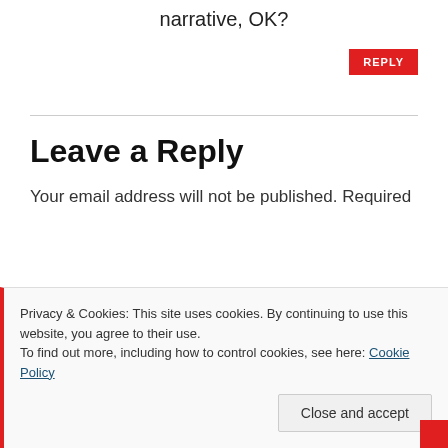narrative, OK?
REPLY
Leave a Reply
Your email address will not be published. Required
Privacy & Cookies: This site uses cookies. By continuing to use this website, you agree to their use.
To find out more, including how to control cookies, see here: Cookie Policy
Close and accept